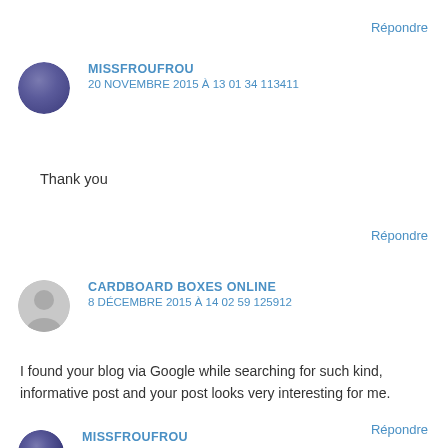Répondre
MISSFROUFROU
20 NOVEMBRE 2015 À 13 01 34 113411
Thank you
Répondre
CARDBOARD BOXES ONLINE
8 DÉCEMBRE 2015 À 14 02 59 125912
I found your blog via Google while searching for such kind, informative post and your post looks very interesting for me.
Répondre
MISSFROUFROU